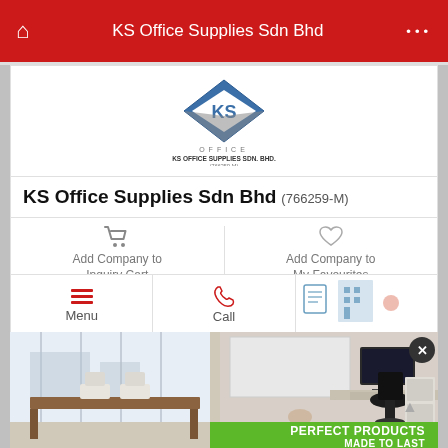KS Office Supplies Sdn Bhd
[Figure (logo): KS Office Supplies Sdn Bhd logo — blue/grey diamond shape with KS monogram, 'OFFICE' below, and company name text KS OFFICE SUPPLIES SDN. BHD. (766259-M)]
KS Office Supplies Sdn Bhd (766259-M)
Add Company to Inquiry Cart
Add Company to My Favourites
Menu
Call
[Figure (screenshot): Mobile app screenshot showing a partially visible third tab icon (document/view icon) in the navigation tab row]
[Figure (photo): Office interior photo showing a modern office with a large wooden desk, white chairs, windows with city view in background, and on the right side a computer desk setup with monitor and office chair, with a whiteboard behind. A green banner at the bottom reads 'PERFECT PRODUCTS MADE TO LAST'.]